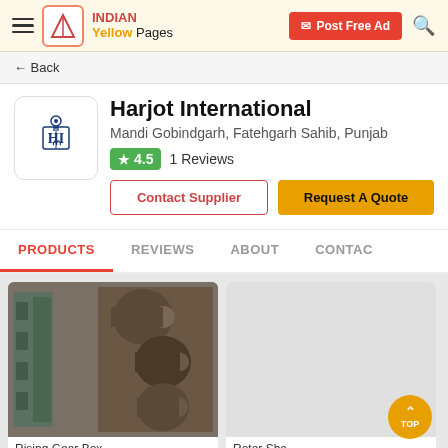INDIAN Yellow Pages — Post Free Ad
← Back
Harjot International
Mandi Gobindgarh, Fatehgarh Sahib, Punjab
★ 4.5  1 Reviews
Contact Supplier | Request A Quote
PRODUCTS  REVIEWS  ABOUT  CONTACT
[Figure (photo): Industrial machinery product photo showing rolling mill stands with cylindrical rolls]
Rising Gear Box...
[Figure (photo): Second product image placeholder (blank/loading)]
Rotor Sha...